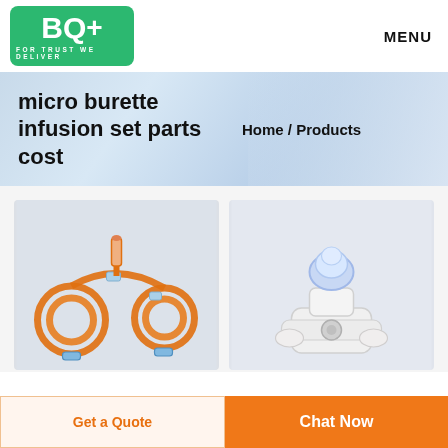[Figure (logo): BQ+ logo with green background and tagline FOR TRUST WE DELIVER]
MENU
micro burette infusion set parts cost
Home / Products
[Figure (photo): Orange infusion set tubing with coiled tubes and connectors on light background]
[Figure (photo): Blue/purple medical connector or luer lock fitting on white background]
Get a Quote
Chat Now